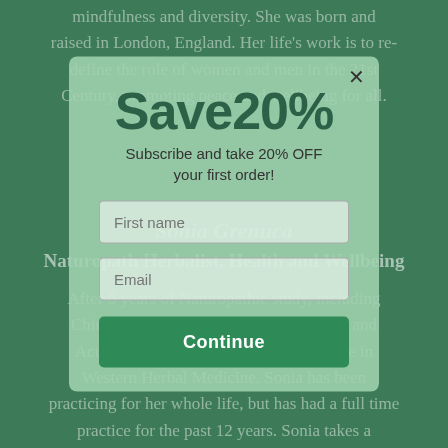mindfulness and diversity. She was born and raised in London, England. Her life's work is to redefine the role of women and men in the 21st Century, promoting peace and wellbeing for all.
[Figure (screenshot): A modal popup overlay on a green background showing a '20% off' subscription offer with First name and Email fields and a Continue button.]
Sonia Grenuca
Naturopath Herbalist, Health and Wellbeing Practitioner
After 5 years of Naturopathic study, including Chinese herbals, Ayurveda, Homeopathy and Acupuncture, Sonia decided to specialize in Western Herbal Medicine. Sonia has been practicing for her whole life, but has had a full time practice for the past 12 years. Sonia takes a...